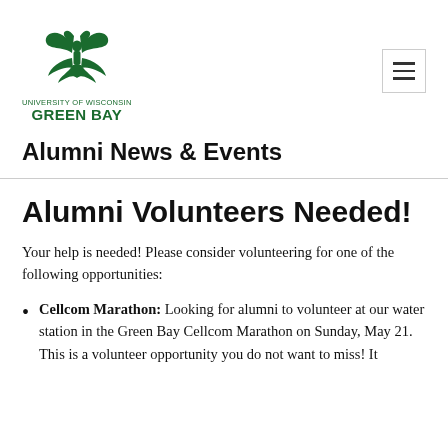[Figure (logo): University of Wisconsin Green Bay phoenix logo in dark green, with text 'University of Wisconsin Green Bay' below]
Alumni News & Events
Alumni Volunteers Needed!
Your help is needed! Please consider volunteering for one of the following opportunities:
Cellcom Marathon: Looking for alumni to volunteer at our water station in the Green Bay Cellcom Marathon on Sunday, May 21. This is a volunteer opportunity you do not want to miss! It